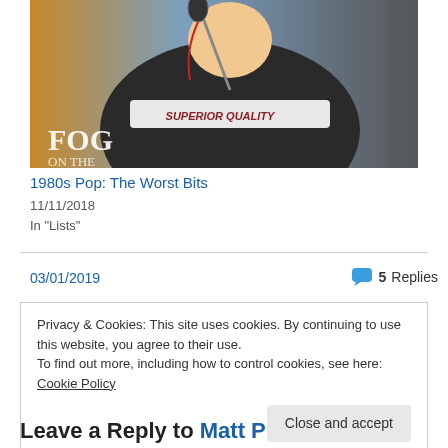[Figure (photo): Person wearing a dark tracksuit jacket with white stripes and 'SUPERIOR QUALITY' text, holding a microphone. Text overlay reads 'FOG ON THE' at the bottom left.]
1980s Pop: The Worst Bits
11/11/2018
In "Lists"
03/01/2019
5 Replies
Privacy & Cookies: This site uses cookies. By continuing to use this website, you agree to their use.
To find out more, including how to control cookies, see here: Cookie Policy
Close and accept
Leave a Reply to Matt P